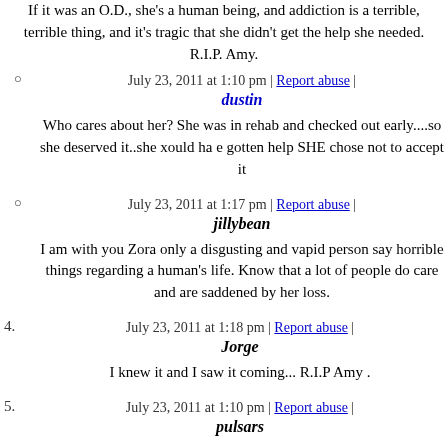If it was an O.D., she's a human being, and addiction is a terrible, terrible thing, and it's tragic that she didn't get the help she needed. R.I.P. Amy.
July 23, 2011 at 1:10 pm | Report abuse |
dustin
Who cares about her? She was in rehab and checked out early....so she deserved it..she xould ha e gotten help SHE chose not to accept it
July 23, 2011 at 1:17 pm | Report abuse |
jillybean
I am with you Zora only a disgusting and vapid person say horrible things regarding a human's life. Know that a lot of people do care and are saddened by her loss.
July 23, 2011 at 1:18 pm | Report abuse |
Jorge
I knew it and I saw it coming... R.I.P Amy .
July 23, 2011 at 1:10 pm | Report abuse |
pulsars